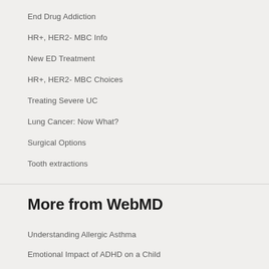End Drug Addiction
HR+, HER2- MBC Info
New ED Treatment
HR+, HER2- MBC Choices
Treating Severe UC
Lung Cancer: Now What?
Surgical Options
Tooth extractions
More from WebMD
Understanding Allergic Asthma
Emotional Impact of ADHD on a Child
ADVERTISEMENT